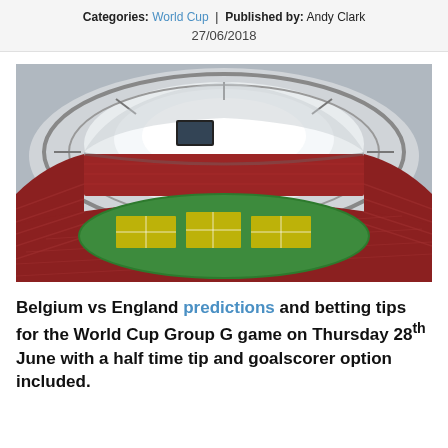Categories: World Cup | Published by: Andy Clark
27/06/2018
[Figure (photo): Aerial interior view of a large football stadium with red seats and a green pitch with yellow markings, shot from above showing the curved roof structure]
Belgium vs England predictions and betting tips for the World Cup Group G game on Thursday 28th June with a half time tip and goalscorer option included.